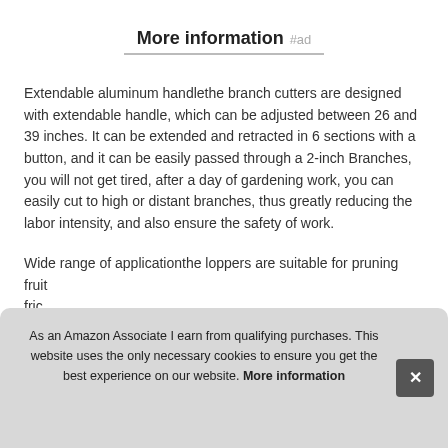More information #ad
Extendable aluminum handlethe branch cutters are designed with extendable handle, which can be adjusted between 26 and 39 inches. It can be extended and retracted in 6 sections with a button, and it can be easily passed through a 2-inch Branches, you will not get tired, after a day of gardening work, you can easily cut to high or distant branches, thus greatly reducing the labor intensity, and also ensure the safety of work.
Wide range of applicationthe loppers are suitable for pruning fruit fric to s harc
As an Amazon Associate I earn from qualifying purchases. This website uses the only necessary cookies to ensure you get the best experience on our website. More information